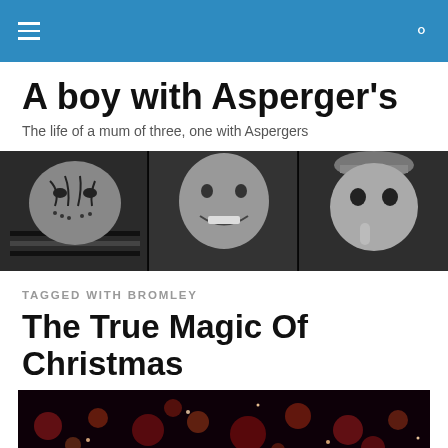Navigation bar with hamburger menu and search icon
A boy with Asperger's
The life of a mum of three, one with Aspergers
[Figure (photo): Black and white triptych of three children: left child has face paint resembling a tiger/zebra and wears a striped outfit; center child is a smiling girl; right child is a younger child in a hat.]
TAGGED WITH BROMLEY
The True Magic Of Christmas
[Figure (photo): Dark photo showing bokeh lights in red and warm tones, suggesting a festive Christmas scene.]